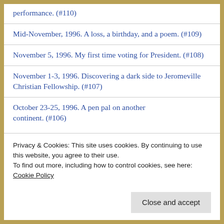performance. (#110)
Mid-November, 1996.  A loss, a birthday, and a poem. (#109)
November 5, 1996. My first time voting for President. (#108)
November 1-3, 1996. Discovering a dark side to Jeromeville Christian Fellowship. (#107)
October 23-25, 1996. A pen pal on another continent. (#106)
Privacy & Cookies: This site uses cookies. By continuing to use this website, you agree to their use.
To find out more, including how to control cookies, see here: Cookie Policy
(#104)